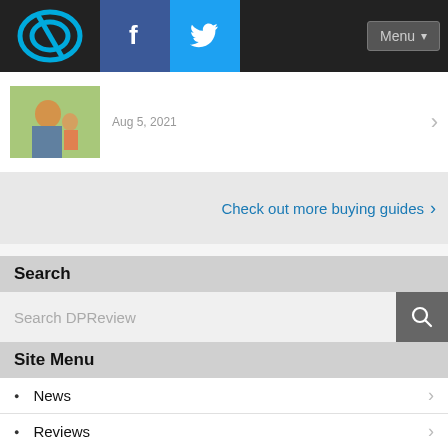[Figure (screenshot): Navigation bar with DPReview logo, Facebook icon, Twitter icon, and Menu button on dark background]
[Figure (photo): Small thumbnail photo of a man with a child outdoors]
Aug 5, 2021
Check out more buying guides
Search
Search DPReview
Site Menu
News
Reviews
Products
Buying guides